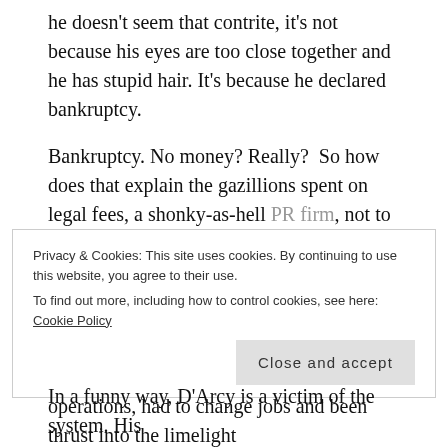he doesn't seem that contrite, it's not because his eyes are too close together and he has stupid hair. It's because he declared bankruptcy.
Bankruptcy. No money? Really?  So how does that explain the gazillions spent on legal fees, a shonky-as-hell PR firm, not to mention all the costs associated with the Olympics not picked up by the taxpayer. I'm sure there'd be lots of travel, diet, therapies that are paid for by D'Arcy Inc.
But nothing for a victim who has had two operations, had to change jobs and been thrust into the limelight
Privacy & Cookies: This site uses cookies. By continuing to use this website, you agree to their use.
To find out more, including how to control cookies, see here: Cookie Policy
In a funny way, D'Arcy is a victim of the system. His